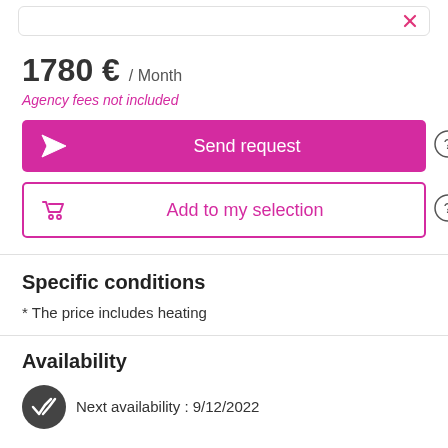[Figure (screenshot): Top bar with rounded border and pink icon on right]
1780 € / Month
Agency fees not included
Send request
Add to my selection
Specific conditions
* The price includes heating
Availability
Next availability : 9/12/2022